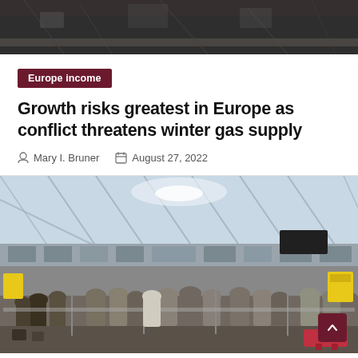[Figure (photo): Dark overhead photo, partially cropped at top, showing debris or dark background]
Europe income
Growth risks greatest in Europe as conflict threatens winter gas supply
Mary I. Bruner   August 27, 2022
[Figure (photo): Airport terminal interior with crowds of travelers queuing at check-in counters, large glass ceiling structure visible above]